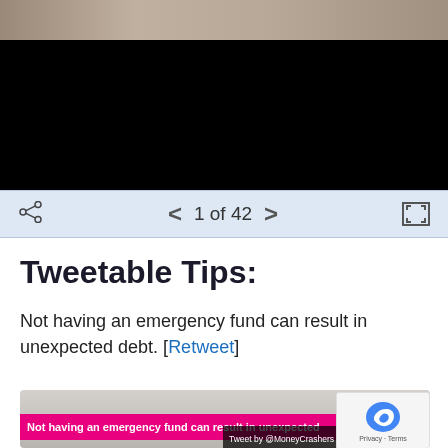[Figure (photo): Slideshow image showing person's hands, mostly black background with navigation bar showing '1 of 42' pagination]
1 of 42
Tweetable Tips:
Not having an emergency fund can result in unexpected debt. [Retweet]
[Figure (photo): Photo of person in light grey sweater with jar on right side. Pink overlay banner reads: 'Not having an emergency fund can result in unexpected'. Tweet by @MoneyCrashers label at bottom.]